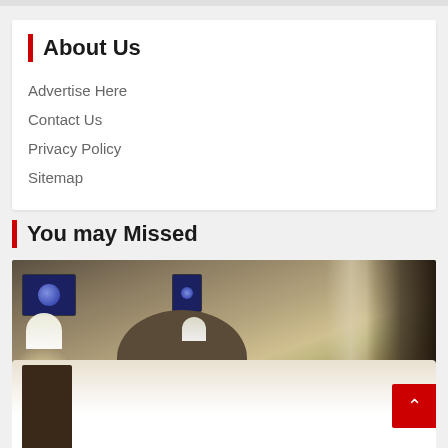About Us
Advertise Here
Contact Us
Privacy Policy
Sitemap
You may Missed
[Figure (photo): Hotel room interior with ornate headboard, white bedding, two lamps, blue flags on wall, nightstand, and curtained window]